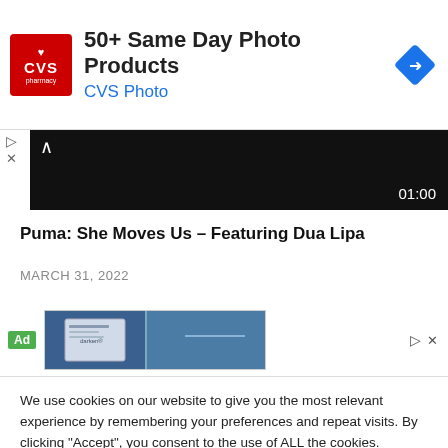[Figure (screenshot): CVS Pharmacy advertisement banner with logo, '50+ Same Day Photo Products', 'CVS Photo', and a navigation diamond icon]
[Figure (screenshot): Video player thumbnail showing dark content with timestamp 01:00 and chevron up icon]
Puma: She Moves Us – Featuring Dua Lipa
MARCH 31, 2022
[Figure (screenshot): Second advertisement banner with 'Ad' badge and partial image of business documents/cards with blue background]
We use cookies on our website to give you the most relevant experience by remembering your preferences and repeat visits. By clicking “Accept”, you consent to the use of ALL the cookies.
Do not sell my personal information.
Cookie settings   ACCEPT   CLOSE